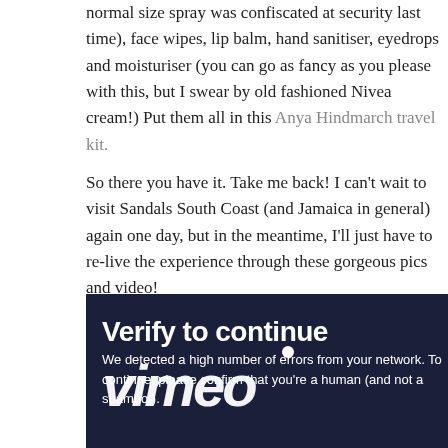normal size spray was confiscated at security last time), face wipes, lip balm, hand sanitiser, eyedrops and moisturiser (you can go as fancy as you please with this, but I swear by old fashioned Nivea cream!) Put them all in this Anya Hindmarch travel kit.
So there you have it. Take me back! I can't wait to visit Sandals South Coast (and Jamaica in general) again one day, but in the meantime, I'll just have to re-live the experience through these gorgeous pics and video!
[Figure (screenshot): Vimeo 'Verify to continue' screen — dark navy background with white bold text reading 'Verify to continue', the Vimeo logo in large italic white text overlaid, and smaller text reading 'We detected a high number of errors from your network. To continue, please confirm that you’re a human (and not a spambot).']